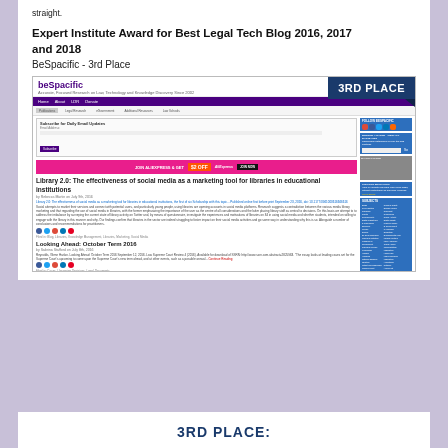straight.
Expert Institute Award for Best Legal Tech Blog 2016, 2017 and 2018
BeSpacific - 3rd Place
[Figure (screenshot): Screenshot of BeSpacific website showing blog posts about legal technology, with a '3RD PLACE' badge in the top right corner]
3RD PLACE: